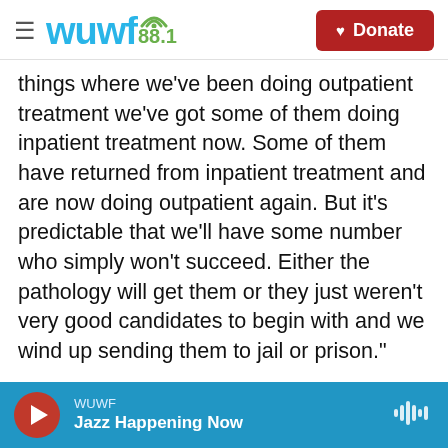WUWF 88.1 | Donate
things where we've been doing outpatient treatment we've got some of them doing inpatient treatment now. Some of them have returned from inpatient treatment and are now doing outpatient again. But it's predictable that we'll have some number who simply won't succeed. Either the pathology will get them or they just weren't very good candidates to begin with and we wind up sending them to jail or prison."
One thing that took the judge by surprise is the way the participants in the program came together. "I did not serve, myself, I have not been in  the
WUWF — Jazz Happening Now